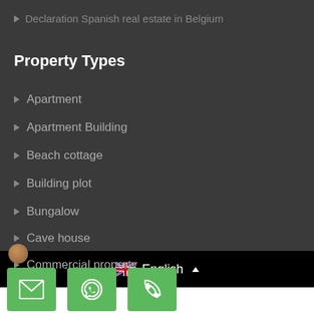Declaration Spanish real estate in Belgium
Property Types
Apartment
Apartment Building
Beach cottage
Building plot
Bungalow
Cave house
Commercial property
English
[Figure (other): Three green buttons: email icon, WhatsApp icon, phone icon]